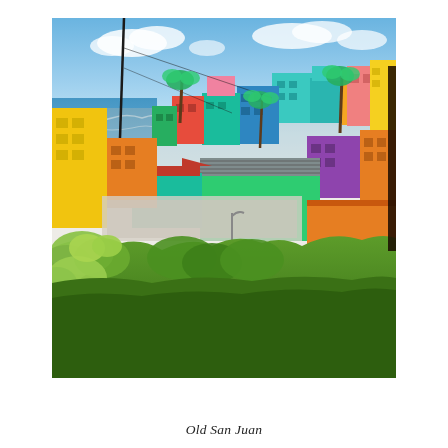[Figure (photo): Aerial/elevated view of Old San Juan, Puerto Rico, showing colorful densely packed buildings of vibrant yellow, orange, red, blue, teal, green, pink, and purple colors against a backdrop of the ocean and blue sky. The foreground is filled with lush green tropical vegetation.]
Old San Juan